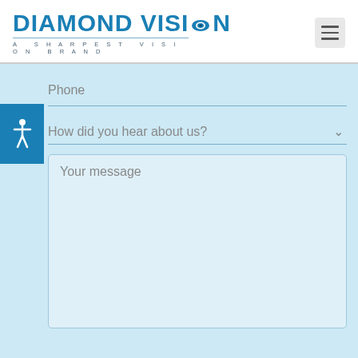[Figure (logo): Diamond Vision logo with eye icon and tagline 'A SHARPEST VISION BRAND']
Phone
How did you hear about us?
Your message